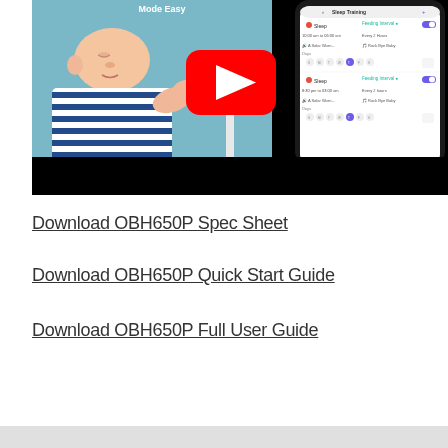[Figure (screenshot): YouTube video thumbnail showing a baby sleeping in a striped outfit on a blue background, with a smart baby monitor device showing a rainbow-colored LED ball, and a smartphone showing a Sleep Training app interface with scheduling options. Text 'Mode Easy' visible at top.]
Download OBH650P Spec Sheet
Download OBH650P Quick Start Guide
Download OBH650P Full User Guide